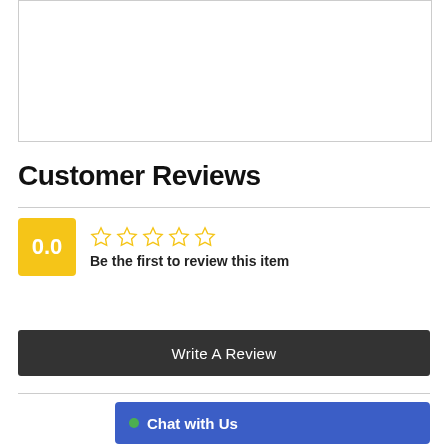[Figure (other): Empty white box with border, likely a product image placeholder]
Customer Reviews
[Figure (other): Rating block showing 0.0 score in yellow box with 5 empty gold stars and text 'Be the first to review this item']
Write A Review
Chat with Us